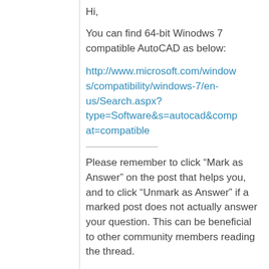Hi,
You can find 64-bit Winodws 7 compatible AutoCAD as below:
http://www.microsoft.com/windows/compatibility/windows-7/en-us/Search.aspx?type=Software&s=autocad&compat=compatible
Please remember to click “Mark as Answer” on the post that helps you, and to click “Unmark as Answer” if a marked post does not actually answer your question. This can be beneficial to other community members reading the thread.
Marked as answer by  Vivian Xing
Thursday, July 1, 2010 9:09 AM